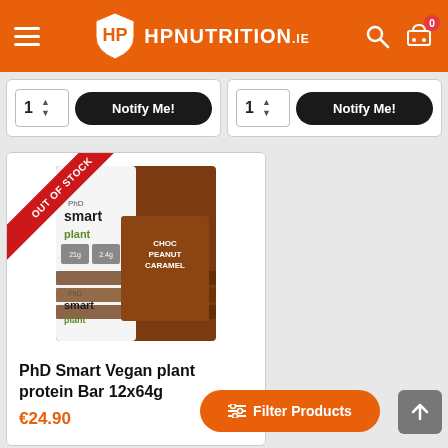HP NUTRITION.ie
[Figure (screenshot): Two product cards showing quantity selector with '1' and 'Notify Me!' buttons on dark rounded rectangles, partially visible at top]
[Figure (photo): PhD Smart Vegan plant protein Bar 12x64g product image showing a box of Choc Peanut Caramel bars with OUT OF STOCK banner overlay]
PhD Smart Vegan plant protein Bar 12x64g
€24.90
[Figure (other): Filter Products button (orange) and Back to Top button (grey arrow)]